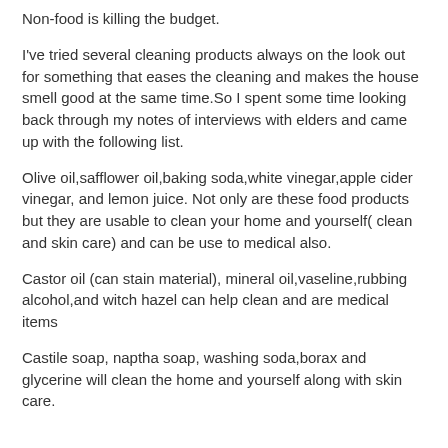Non-food is killing the budget.
I've tried several cleaning products always on the look out for something that eases the cleaning and makes the house smell good at the same time.So I spent some time looking back through my notes of interviews with elders and came up with the following list.
Olive oil,safflower oil,baking soda,white vinegar,apple cider vinegar, and lemon juice. Not only are these food products but they are usable to clean your home and yourself( clean and skin care) and can be use to medical also.
Castor oil (can stain material), mineral oil,vaseline,rubbing alcohol,and witch hazel can help clean and are medical items
Castile soap, naptha soap, washing soda,borax and glycerine will clean the home and yourself along with skin care.